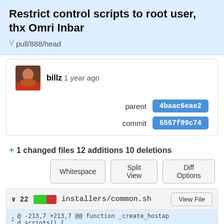Restrict control scripts to root user, thx Omri Inbar
pull/888/head
billz 1 year ago
parent 4baac6eae2
commit 6567f99c74
+ 1 changed files 12 additions 10 deletions
Whitespace | Split View | Diff Options
v 22 installers/common.sh View File
@ -213,7 +213,7 @@ function _create_hostapd_scripts() {
213  213    # Move service control shell scripts
214  214    sudo cp "$webroot_dir/installers/"se
rvice*.sh "$raspon_dir/hostapd" || inst